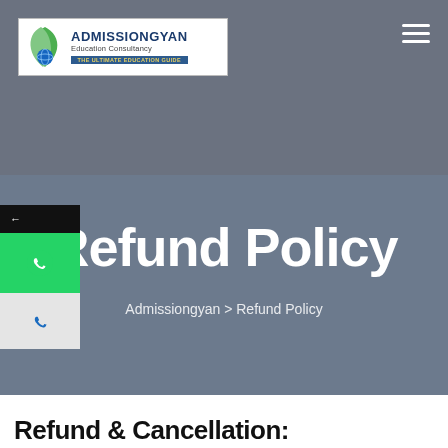[Figure (logo): Admissiongyan Education Consultancy logo with green leaf, globe, and text]
Refund Policy
Admissiongyan > Refund Policy
Refund & Cancellation: